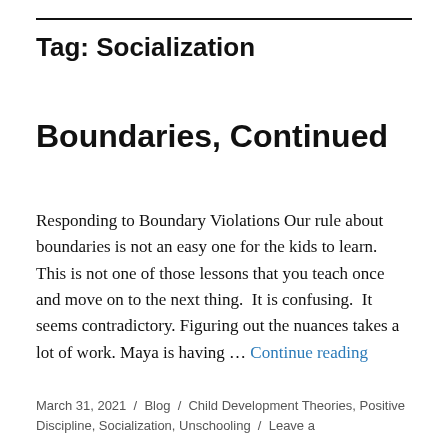Tag: Socialization
Boundaries, Continued
Responding to Boundary Violations Our rule about boundaries is not an easy one for the kids to learn.  This is not one of those lessons that you teach once and move on to the next thing.  It is confusing.  It seems contradictory.  Figuring out the nuances takes a lot of work.  Maya is having … Continue reading
March 31, 2021  /  Blog  /  Child Development Theories, Positive Discipline, Socialization, Unschooling  /  Leave a